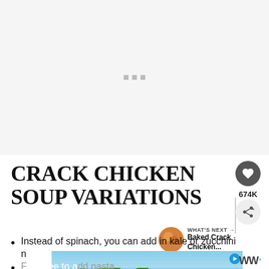[Figure (photo): Large light gray placeholder / loading area at top of page with three small gray square dots centered]
CRACK CHICKEN SOUP VARIATIONS
[Figure (infographic): WHAT'S NEXT arrow label with circular food photo thumbnail and text 'Baked Crack Chicken...']
Instead of spinach, you can add in kale or zucchini noodles
[Figure (photo): Advertisement banner with palm trees and blue sky]
Feel free to add pasta